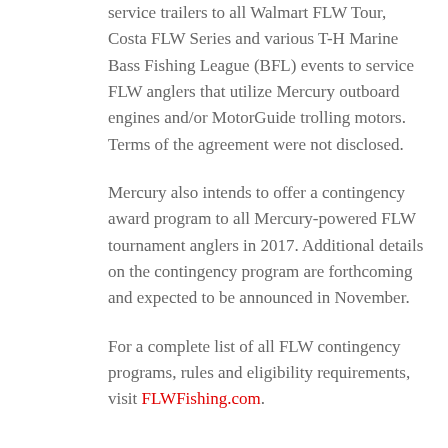service trailers to all Walmart FLW Tour, Costa FLW Series and various T-H Marine Bass Fishing League (BFL) events to service FLW anglers that utilize Mercury outboard engines and/or MotorGuide trolling motors. Terms of the agreement were not disclosed.
Mercury also intends to offer a contingency award program to all Mercury-powered FLW tournament anglers in 2017. Additional details on the contingency program are forthcoming and expected to be announced in November.
For a complete list of all FLW contingency programs, rules and eligibility requirements, visit FLWFishing.com.